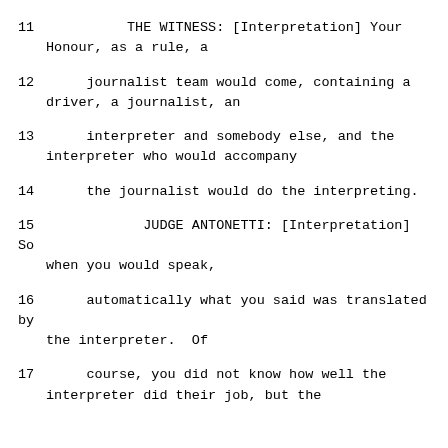11          THE WITNESS: [Interpretation] Your Honour, as a rule, a
12     journalist team would come, containing a driver, a journalist, an
13     interpreter and somebody else, and the interpreter who would accompany
14     the journalist would do the interpreting.
15              JUDGE ANTONETTI: [Interpretation] So when you would speak,
16     automatically what you said was translated by the interpreter.  Of
17     course, you did not know how well the interpreter did their job, but the